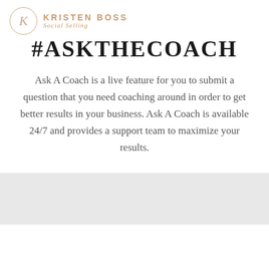[Figure (logo): Kristen Boss Social Selling logo with circle K emblem and brand name]
#ASKTHECOACH
Ask A Coach is a live feature for you to submit a question that you need coaching around in order to get better results in your business. Ask A Coach is available 24/7 and provides a support team to maximize your results.